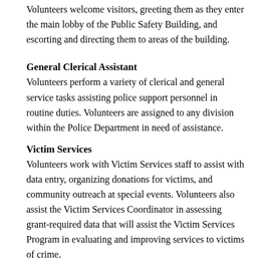Volunteers welcome visitors, greeting them as they enter the main lobby of the Public Safety Building, and escorting and directing them to areas of the building.
General Clerical Assistant
Volunteers perform a variety of clerical and general service tasks assisting police support personnel in routine duties. Volunteers are assigned to any division within the Police Department in need of assistance.
Victim Services
Volunteers work with Victim Services staff to assist with data entry, organizing donations for victims, and community outreach at special events. Volunteers also assist the Victim Services Coordinator in assessing grant-required data that will assist the Victim Services Program in evaluating and improving services to victims of crime.
Qualifications
Must not have received more than two moving traffic violations, or have an unstable driving record.